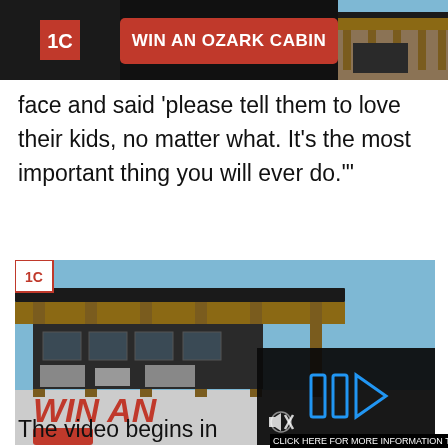[Figure (screenshot): Banner advertisement: dark background on left with logo, red button reading WIN AN OZARK CABIN in center, cabin photo on right]
face and said 'please tell them to love their kids, no matter what. It's the most important thing you will ever do.'"
[Figure (screenshot): Large cabin advertisement image showing a modern cabin with wooden beams, black metal exterior, covered porch, overlaid with WIN AN text and a video player overlay with blue play icons and mute button]
The video begins in